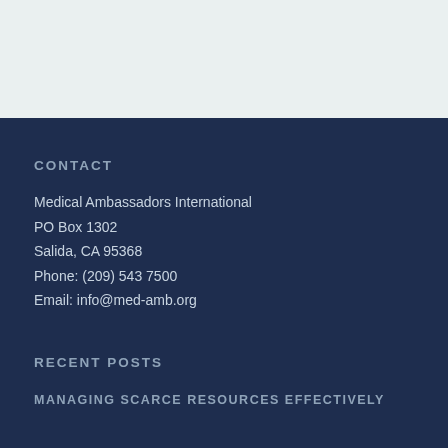CONTACT
Medical Ambassadors International
PO Box 1302
Salida, CA 95368
Phone: (209) 543 7500
Email: info@med-amb.org
RECENT POSTS
MANAGING SCARCE RESOURCES EFFECTIVELY